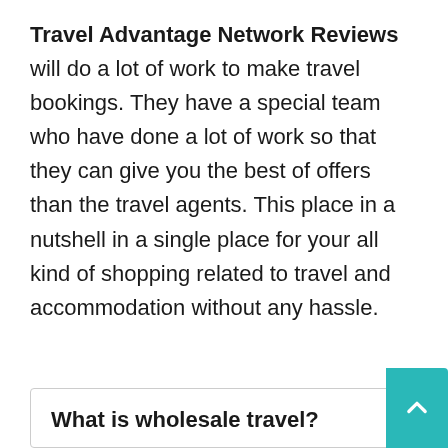Travel Advantage Network Reviews will do a lot of work to make travel bookings. They have a special team who have done a lot of work so that they can give you the best of offers than the travel agents. This place in a nutshell in a single place for your all kind of shopping related to travel and accommodation without any hassle.
What is wholesale travel?